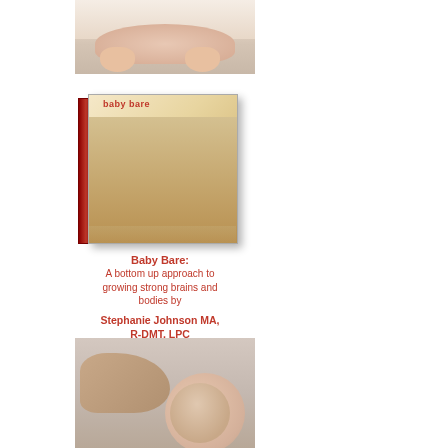[Figure (photo): Close-up photo of a baby crawling, showing baby arms and hands pressed against a white surface]
[Figure (illustration): 3D book cover image of 'Baby Bare' book showing a baby on the cover with red spine and title]
Baby Bare: A bottom up approach to growing strong brains and bodies by
Stephanie Johnson MA, R-DMT, LPC
To order visit: www.SageEducationCenter.com
[Figure (photo): Close-up photo of an adult hand supporting a baby's head, with the baby looking up]